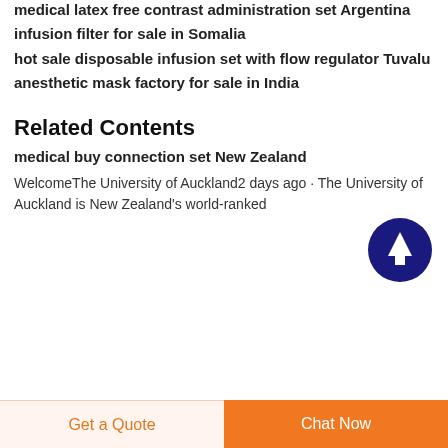medical latex free contrast administration set Argentina
infusion filter for sale in Somalia
hot sale disposable infusion set with flow regulator Tuvalu
anesthetic mask factory for sale in India
Related Contents
medical buy connection set New Zealand
WelcomeThe University of Auckland2 days ago · The University of Auckland is New Zealand's world-ranked